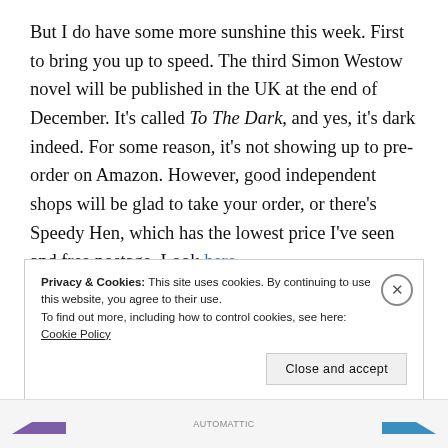But I do have some more sunshine this week. First to bring you up to speed. The third Simon Westow novel will be published in the UK at the end of December. It's called To The Dark, and yes, it's dark indeed. For some reason, it's not showing up to pre-order on Amazon. However, good independent shops will be glad to take your order, or there's Speedy Hen, which has the lowest price I've seen and free postage. Look here.
Privacy & Cookies: This site uses cookies. By continuing to use this website, you agree to their use.
To find out more, including how to control cookies, see here: Cookie Policy
Close and accept